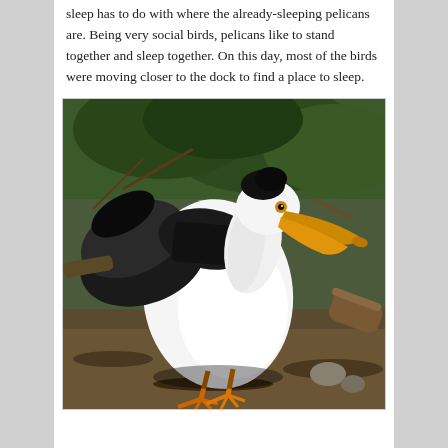sleep has to do with where the already-sleeping pelicans are. Being very social birds, pelicans like to stand together and sleep together. On this day, most of the birds were moving closer to the dock to find a place to sleep.
[Figure (photo): A close-up photograph of an American White Pelican standing on the ground near vegetation and dirt. The bird has white and black plumage with wings partially spread, a distinctive orange-yellow beak, and orange feet. The background shows green foliage and branches.]